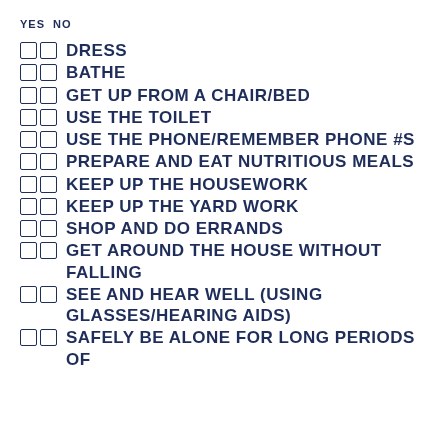YES  NO
DRESS
BATHE
GET UP FROM A CHAIR/BED
USE THE TOILET
USE THE PHONE/REMEMBER PHONE #S
PREPARE AND EAT NUTRITIOUS MEALS
KEEP UP THE HOUSEWORK
KEEP UP THE YARD WORK
SHOP AND DO ERRANDS
GET AROUND THE HOUSE WITHOUT FALLING
SEE AND HEAR WELL (USING GLASSES/HEARING AIDS)
SAFELY BE ALONE FOR LONG PERIODS OF